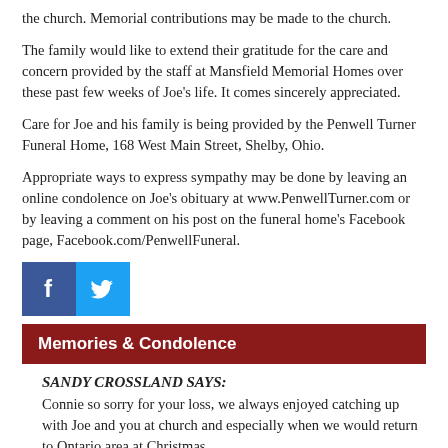the church. Memorial contributions may be made to the church.
The family would like to extend their gratitude for the care and concern provided by the staff at Mansfield Memorial Homes over these past few weeks of Joe's life. It comes sincerely appreciated.
Care for Joe and his family is being provided by the Penwell Turner Funeral Home, 168 West Main Street, Shelby, Ohio.
Appropriate ways to express sympathy may be done by leaving an online condolence on Joe's obituary at www.PenwellTurner.com or by leaving a comment on his post on the funeral home's Facebook page, Facebook.com/PenwellFuneral.
[Figure (logo): Facebook and Twitter social media icon buttons side by side]
Memories & Condolence
SANDY CROSSLAND SAYS:
Connie so sorry for your loss, we always enjoyed catching up with Joe and you at church and especially when we would return to Ontario area at Christmas.